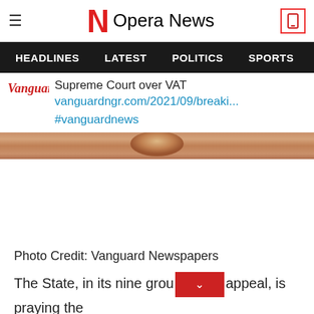Opera News
HEADLINES  LATEST  POLITICS  SPORTS
Supreme Court over VAT
vanguardngr.com/2021/09/breaki...
#vanguardnews
[Figure (photo): Copper colored railing or bar, horizontal strip]
Photo Credit: Vanguard Newspapers
The State, in its nine grou  appeal, is praying the